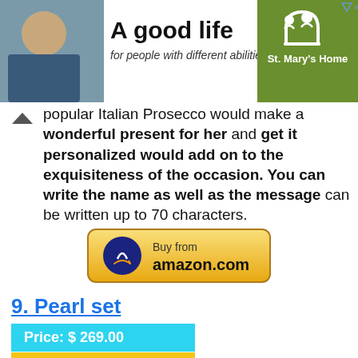[Figure (infographic): Ad banner for St. Mary's Home reading 'A good life for people with different abilities' with a photo of a woman and a green panel with St. Mary's Home logo/text]
popular Italian Prosecco would make a wonderful present for her and get it personalized would add on to the exquisiteness of the occasion. You can write the name as well as the message can be written up to 70 characters.
[Figure (other): Amazon.com 'Buy from amazon.com' button with circular amazon logo]
9. Pearl set
Price: $ 269.00
Reviews: 4.5